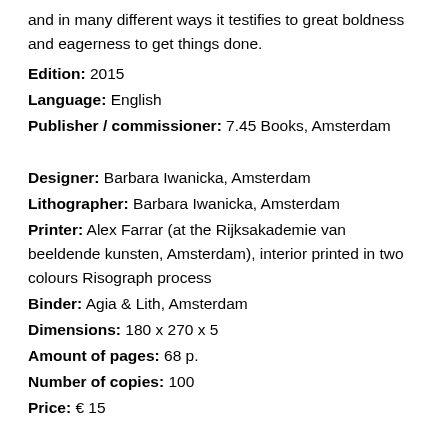and in many different ways it testifies to great boldness and eagerness to get things done.
Edition: 2015
Language: English
Publisher / commissioner: 7.45 Books, Amsterdam
Designer: Barbara Iwanicka, Amsterdam
Lithographer: Barbara Iwanicka, Amsterdam
Printer: Alex Farrar (at the Rijksakademie van beeldende kunsten, Amsterdam), interior printed in two colours Risograph process
Binder: Agia & Lith, Amsterdam
Dimensions: 180 x 270 x 5
Amount of pages: 68 p.
Number of copies: 100
Price: € 15